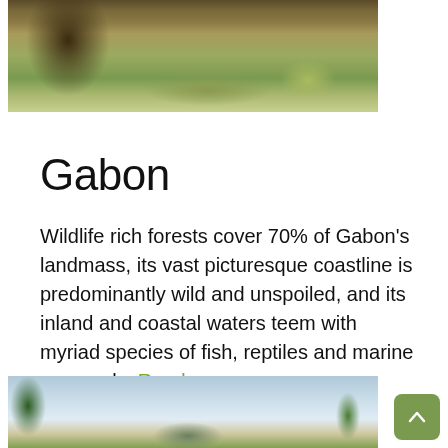[Figure (photo): Partial view of a wildlife/nature scene with sandy ground, sparse grass, and what appears to be an elephant or large animal near a tree trunk at top of page]
Gabon
Wildlife rich forests cover 70% of Gabon’s landmass, its vast picturesque coastline is predominantly wild and unspoiled, and its inland and coastal waters teem with myriad species of fish, reptiles and marine mammals. Read more
[Figure (photo): Partial view of a tropical landscape with green trees, cloudy sky, and vegetation at the bottom of the page]